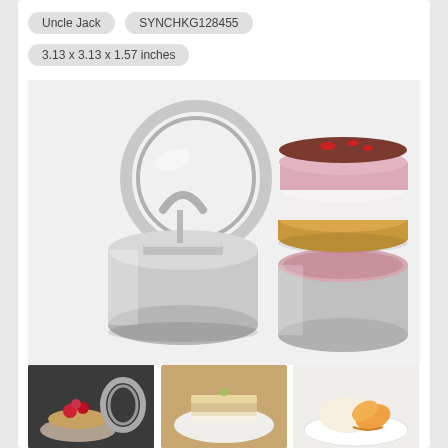Uncle Jack   SYNCHKG128455
3.13 x 3.13 x 1.57 inches
[Figure (photo): Stainless steel round cake/food mold rings set of 3 with pusher tool, shown alongside a layered mousse dessert cake and a dessert inside one of the rings]
[Figure (photo): Small round dessert topped with raspberries on a plate, with stainless steel mold rings in background]
[Figure (photo): A layered sandwich-style dessert on a white plate]
[Figure (photo): A creamy dessert with peach slices on a white plate]